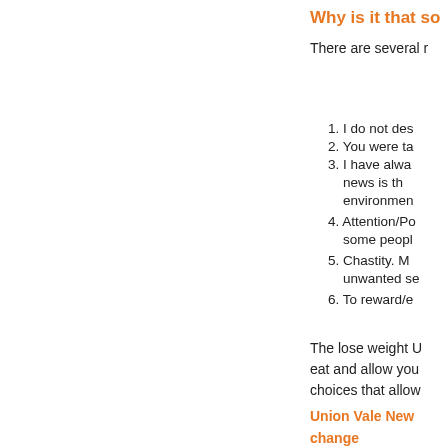Why is it that so
There are several r
1. I do not des
2. You were ta
3. I have alwa news is th environmen
4. Attention/Po some peopl
5. Chastity. M unwanted se
6. To reward/e
The lose weight U eat and allow you choices that allow
Union Vale New change